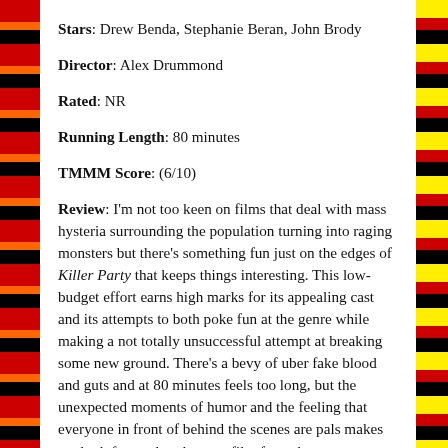Stars: Drew Benda, Stephanie Beran, John Brody
Director: Alex Drummond
Rated: NR
Running Length: 80 minutes
TMMM Score: (6/10)
Review: I'm not too keen on films that deal with mass hysteria surrounding the population turning into raging monsters but there's something fun just on the edges of Killer Party that keeps things interesting. This low-budget effort earns high marks for its appealing cast and its attempts to both poke fun at the genre while making a not totally unsuccessful attempt at breaking some new ground. There's a bevy of uber fake blood and guts and at 80 minutes feels too long, but the unexpected moments of humor and the feeling that everyone in front of behind the scenes are pals makes me look forward to the next film from these guys.